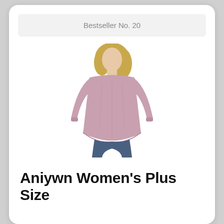Bestseller No. 20
[Figure (photo): Woman wearing a pink/mauve long-sleeve relaxed fit tunic top with jeans, shown from shoulders to mid-thigh]
Aniywn Women's Plus Size